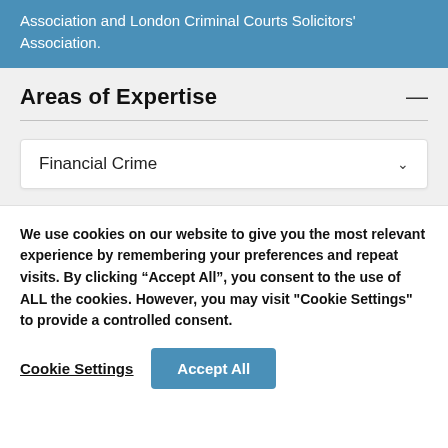Association and London Criminal Courts Solicitors' Association.
Areas of Expertise
Financial Crime
We use cookies on our website to give you the most relevant experience by remembering your preferences and repeat visits. By clicking “Accept All”, you consent to the use of ALL the cookies. However, you may visit "Cookie Settings" to provide a controlled consent.
Cookie Settings
Accept All